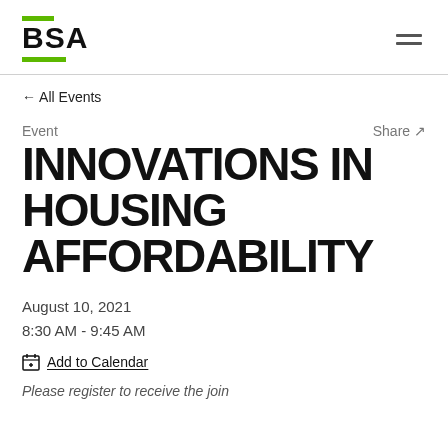BSA
← All Events
Event
Share ↗
INNOVATIONS IN HOUSING AFFORDABILITY
August 10, 2021
8:30 AM - 9:45 AM
Add to Calendar
Please register to receive the join